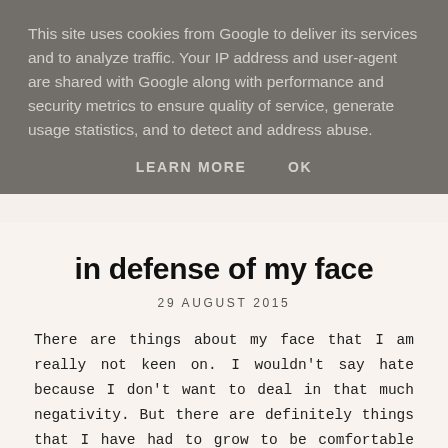This site uses cookies from Google to deliver its services and to analyze traffic. Your IP address and user-agent are shared with Google along with performance and security metrics to ensure quality of service, generate usage statistics, and to detect and address abuse.
LEARN MORE    OK
in defense of my face
29 AUGUST 2015
There are things about my face that I am really not keen on. I wouldn't say hate because I don't want to deal in that much negativity. But there are definitely things that I have had to grow to be comfortable with.
I have incredibly hooded lids so eyeliner prints, my...